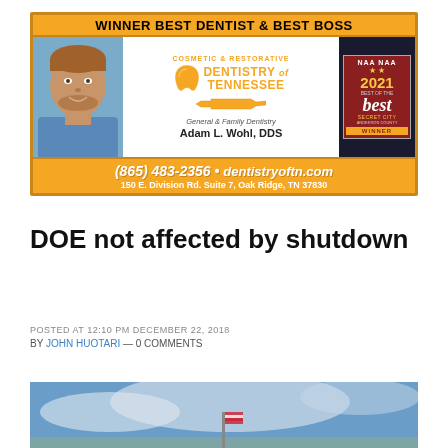[Figure (infographic): Advertisement for Dentistry of Tennessee — Winner Best Dentist & Best Boss. Features a photo of Adam L. Wohl DDS, tooth logo, 2021 Best of the Best Secret City Anderson County badge, phone (865) 483-2356, website dentistryoftn.com, address 150 E. Division Rd. Suite 7, Oak Ridge, TN 37830.]
DOE not affected by shutdown
POSTED AT 12:10 PM DECEMBER 22, 2018
BY JOHN HUOTARI — 0 COMMENTS
[Figure (photo): Bottom portion of an outdoor photo showing a blue sky with clouds and what appears to be a flag or structure at the bottom edge.]